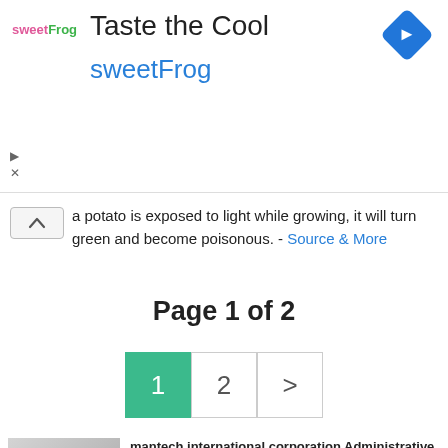[Figure (screenshot): sweetFrog advertisement banner with logo, 'Taste the Cool' title, 'sweetFrog' subtitle in blue, and a blue diamond navigation icon]
a potato is exposed to light while growing, it will turn green and become poisonous. - Source & More
Page 1 of 2
[Figure (other): Pagination controls: button 1 (active/green), button 2, button > (next)]
[Figure (screenshot): Sponsored ad: mantech international corporation Administrative. jobble.com]
[Figure (screenshot): Sponsored ad: OneMain Financial Electrical Engineer Jobs in Ashburn. jobble.com]